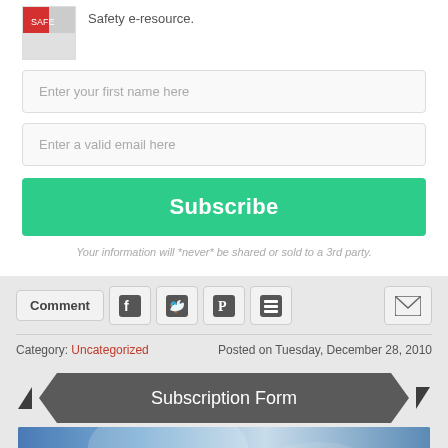[Figure (photo): Small thumbnail image with red/safety branding in top left]
Safety e-resource.
Enter your first name here
Enter a valid email here
Subscribe
Your information will *never* be shared or sold to a 3rd party.
Comment
Category: Uncategorized    Posted on Tuesday, December 28, 2010
Subscription Form
[Figure (photo): Blue abstract image at bottom, partially cut off]